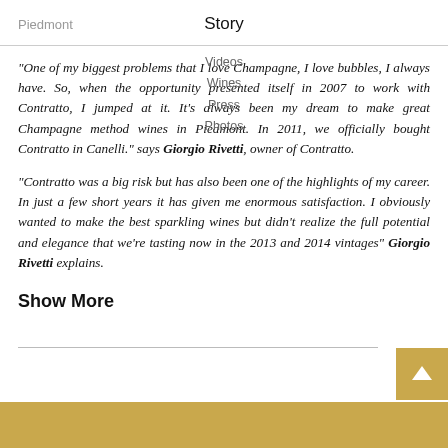Piedmont   Story
"One of my biggest problems that I love Champagne, I love bubbles, I always have. So, when the opportunity presented itself in 2007 to work with Contratto, I jumped at it. It’s always been my dream to make great Champagne method wines in Piedmont. In 2011, we officially bought Contratto in Canelli." says Giorgio Rivetti, owner of Contratto.
“Contratto was a big risk but has also been one of the highlights of my career. In just a few short years it has given me enormous satisfaction. I obviously wanted to make the best sparkling wines but didn’t realize the full potential and elegance that we’re tasting now in the 2013 and 2014 vintages” Giorgio Rivetti explains.
Show More